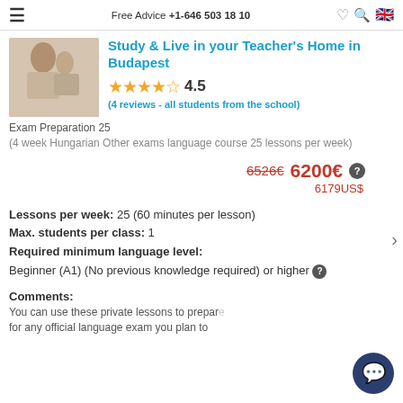Free Advice +1-646 503 18 10
Study & Live in your Teacher's Home in Budapest
4.5 (4 reviews - all students from the school)
Exam Preparation 25 (4 week Hungarian Other exams language course 25 lessons per week)
6526€  6200€  6179US$
Lessons per week: 25 (60 minutes per lesson)
Max. students per class: 1
Required minimum language level:
Beginner (A1) (No previous knowledge required) or higher
Comments:
You can use these private lessons to prepare for any official language exam you plan to